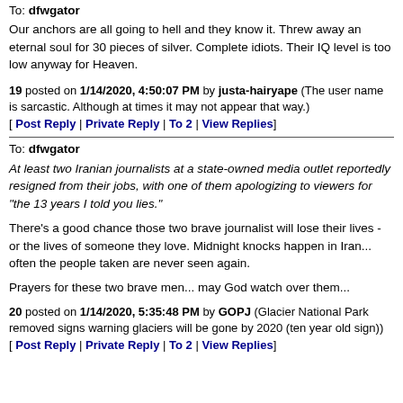To: dfwgator
Our anchors are all going to hell and they know it. Threw away an eternal soul for 30 pieces of silver. Complete idiots. Their IQ level is too low anyway for Heaven.
19 posted on 1/14/2020, 4:50:07 PM by justa-hairyape (The user name is sarcastic. Although at times it may not appear that way.)
[ Post Reply | Private Reply | To 2 | View Replies]
To: dfwgator
At least two Iranian journalists at a state-owned media outlet reportedly resigned from their jobs, with one of them apologizing to viewers for "the 13 years I told you lies."
There's a good chance those two brave journalist will lose their lives - or the lives of someone they love. Midnight knocks happen in Iran... often the people taken are never seen again.
Prayers for these two brave men... may God watch over them...
20 posted on 1/14/2020, 5:35:48 PM by GOPJ (Glacier National Park removed signs warning glaciers will be gone by 2020 (ten year old sign))
[ Post Reply | Private Reply | To 2 | View Replies]